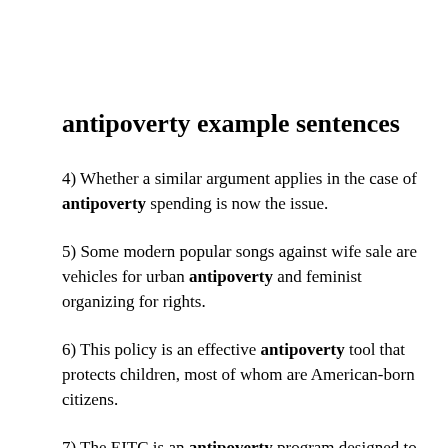antipoverty example sentences
4) Whether a similar argument applies in the case of antipoverty spending is now the issue.
5) Some modern popular songs against wife sale are vehicles for urban antipoverty and feminist organizing for rights.
6) This policy is an effective antipoverty tool that protects children, most of whom are American-born citizens.
7) The EITC is an antipoverty program designed to encourage people to work by providing a credit on wages.